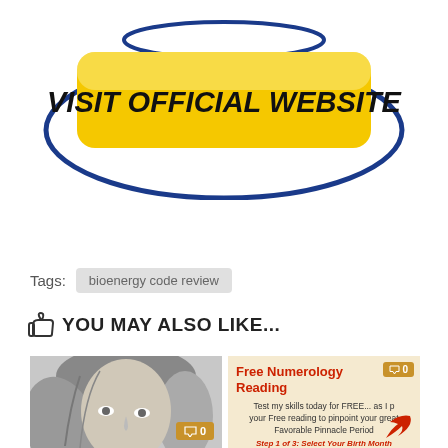[Figure (illustration): Yellow rounded rectangle button with text VISIT OFFICIAL WEBSITE in bold italic black font, surrounded by a dark blue oval ellipse outline, on white background]
Tags:  bioenergy code review
👍 YOU MAY ALSO LIKE...
[Figure (photo): Grayscale pencil drawing or photo of a woman's face with flowing hair, with a gold comment badge showing 0]
[Figure (screenshot): Free Numerology Reading card with beige background, red title, description text, Step 1 of 3 label, red arrow, and gold comment badge showing 0]